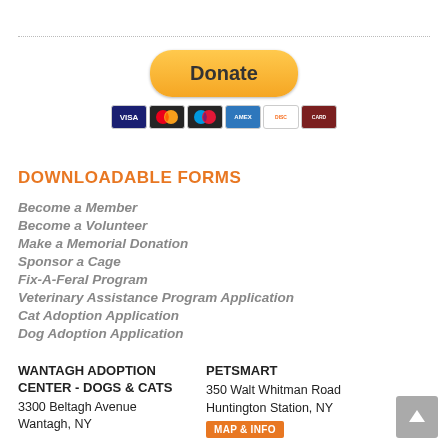[Figure (other): PayPal Donate button with credit card icons (Visa, Mastercard, Maestro, Amex, Discover, and one more)]
DOWNLOADABLE FORMS
Become a Member
Become a Volunteer
Make a Memorial Donation
Sponsor a Cage
Fix-A-Feral Program
Veterinary Assistance Program Application
Cat Adoption Application
Dog Adoption Application
WANTAGH ADOPTION CENTER - DOGS & CATS
3300 Beltagh Avenue
Wantagh, NY
PETSMART
350 Walt Whitman Road
Huntington Station, NY